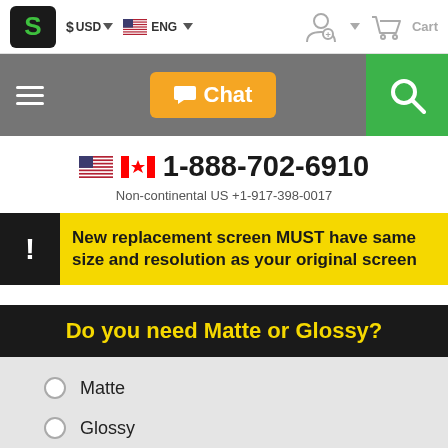[Figure (screenshot): E-commerce website header with logo (S), currency selector ($ USD), language selector (ENG with US flag), account icon, and Cart icon]
[Figure (screenshot): Gray navigation bar with hamburger menu, orange Chat button with chat bubble icon, and green search button with magnifier icon]
1-888-702-6910
Non-continental US +1-917-398-0017
New replacement screen MUST have same size and resolution as your original screen
Do you need Matte or Glossy?
Matte
Glossy
Matte vs. Glossy Explained